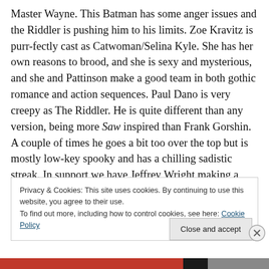Master Wayne. This Batman has some anger issues and the Riddler is pushing him to his limits. Zoe Kravitz is purr-fectly cast as Catwoman/Selina Kyle. She has her own reasons to brood, and she is sexy and mysterious, and she and Pattinson make a good team in both gothic romance and action sequences. Paul Dano is very creepy as The Riddler. He is quite different than any version, being more Saw inspired than Frank Gorshin. A couple of times he goes a bit too over the top but is mostly low-key spooky and has a chilling sadistic streak. In support we have Jeffrey Wright making a great James Gordon, Colin
Privacy & Cookies: This site uses cookies. By continuing to use this website, you agree to their use.
To find out more, including how to control cookies, see here: Cookie Policy
Close and accept